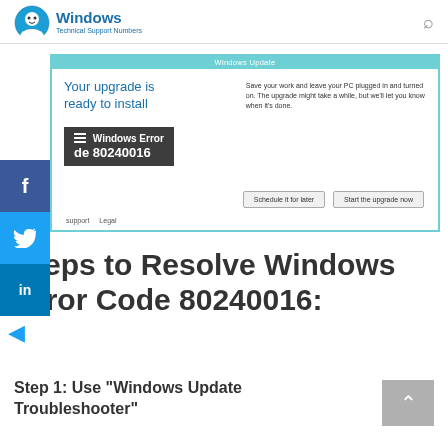Windows Technical Support Numbers
[Figure (screenshot): Windows Update dialog box showing 'Your upgrade is ready to install' with a dark overlay showing 'Windows Error Code 80240016', buttons 'Schedule it for later' and 'Start the upgrade now']
Steps to Resolve Windows Error Code 80240016:
Step 1: Use “Windows Update Troubleshooter”